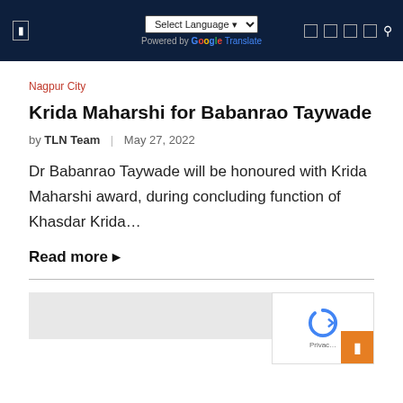Select Language | Powered by Google Translate
Nagpur City
Krida Maharshi for Babanrao Taywade
by TLN Team | May 27, 2022
Dr Babanrao Taywade will be honoured with Krida Maharshi award, during concluding function of Khasdar Krida…
Read more →